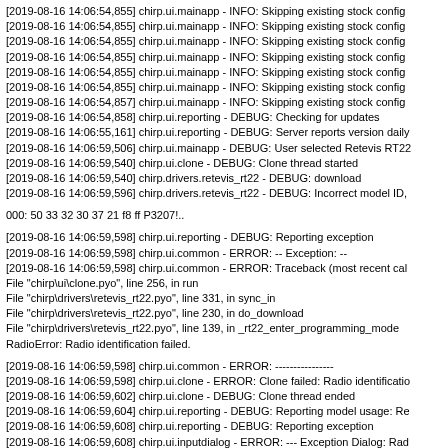[2019-08-16 14:06:54,855] chirp.ui.mainapp - INFO: Skipping existing stock config
[2019-08-16 14:06:54,855] chirp.ui.mainapp - INFO: Skipping existing stock config
[2019-08-16 14:06:54,855] chirp.ui.mainapp - INFO: Skipping existing stock config
[2019-08-16 14:06:54,855] chirp.ui.mainapp - INFO: Skipping existing stock config
[2019-08-16 14:06:54,855] chirp.ui.mainapp - INFO: Skipping existing stock config
[2019-08-16 14:06:54,855] chirp.ui.mainapp - INFO: Skipping existing stock config
[2019-08-16 14:06:54,857] chirp.ui.mainapp - INFO: Skipping existing stock config
[2019-08-16 14:06:54,858] chirp.ui.reporting - DEBUG: Checking for updates
[2019-08-16 14:06:55,161] chirp.ui.reporting - DEBUG: Server reports version daily
[2019-08-16 14:06:59,506] chirp.ui.mainapp - DEBUG: User selected Retevis RT22
[2019-08-16 14:06:59,540] chirp.ui.clone - DEBUG: Clone thread started
[2019-08-16 14:06:59,540] chirp.drivers.retevis_rt22 - DEBUG: download
[2019-08-16 14:06:59,596] chirp.drivers.retevis_rt22 - DEBUG: Incorrect model ID,
000: 50 33 32 30 37 21 f8 ff P3207!..
[2019-08-16 14:06:59,598] chirp.ui.reporting - DEBUG: Reporting exception
[2019-08-16 14:06:59,598] chirp.ui.common - ERROR: -- Exception: --
[2019-08-16 14:06:59,598] chirp.ui.common - ERROR: Traceback (most recent cal
File "chirp\ui\clone.pyo", line 256, in run
File "chirp\drivers\retevis_rt22.pyo", line 331, in sync_in
File "chirp\drivers\retevis_rt22.pyo", line 230, in do_download
File "chirp\drivers\retevis_rt22.pyo", line 139, in _rt22_enter_programming_mode
RadioError: Radio identification failed.
[2019-08-16 14:06:59,598] chirp.ui.common - ERROR: ----------------
[2019-08-16 14:06:59,598] chirp.ui.clone - ERROR: Clone failed: Radio identificatio
[2019-08-16 14:06:59,602] chirp.ui.clone - DEBUG: Clone thread ended
[2019-08-16 14:06:59,604] chirp.ui.reporting - DEBUG: Reporting model usage: Re
[2019-08-16 14:06:59,608] chirp.ui.reporting - DEBUG: Reporting exception
[2019-08-16 14:06:59,608] chirp.ui.inputdialog - ERROR: --- Exception Dialog: Rad
[2019-08-16 14:06:59,608] chirp.ui.inputdialog - ERROR: Traceback (most recent c
File "chirp\drivers\...